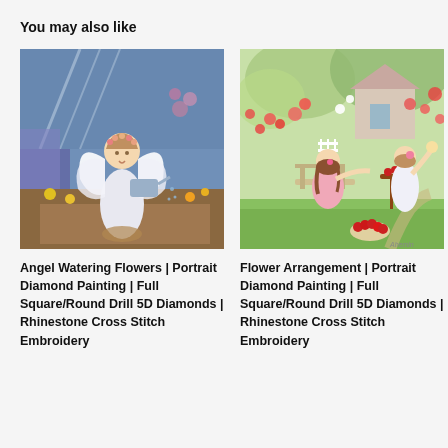You may also like
[Figure (illustration): Painting of a young angel child with white wings holding a watering can, standing in a colorful garden with flowers]
[Figure (illustration): Painting of two girls in a garden with flowers and a cottage, one sitting in pink dress, one standing in white dress near a table with cherries]
Angel Watering Flowers | Portrait Diamond Painting | Full Square/Round Drill 5D Diamonds | Rhinestone Cross Stitch Embroidery
Flower Arrangement | Portrait Diamond Painting | Full Square/Round Drill 5D Diamonds | Rhinestone Cross Stitch Embroidery